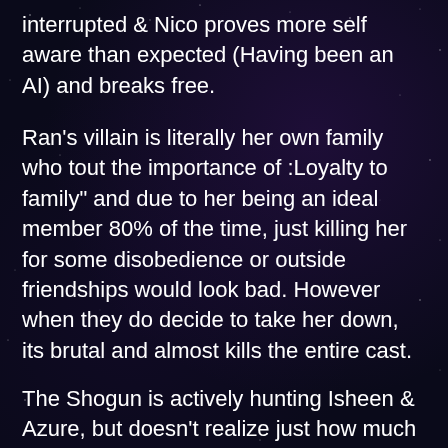interrupted & Nico proves more self aware than expected (Having been an AI) and breaks free.
Ran's villain is literally her own family who tout the importance of :Loyalty to family" and due to her being an ideal member 80% of the time, just killing her for some disobedience or outside friendships would look bad. However when they do decide to take her down, its brutal and almost kills the entire cast.
The Shogun is actively hunting Isheen & Azure, but doesn't realize just how much of a threat they are so its solely for their crimes of killing some of his soldiers, and everyone else has to figure out his empires schemes on their own.